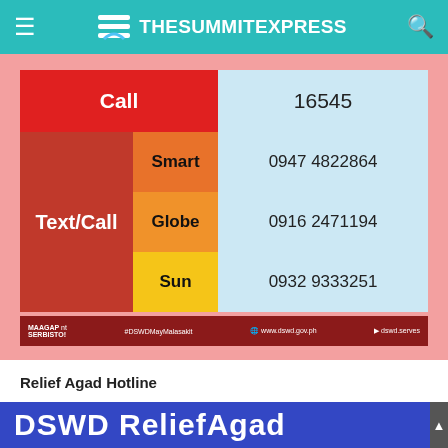TheSummitExpress
[Figure (infographic): DSWD Relief Agad hotline contact information table showing: Call 16545; Text/Call Smart 0947 4822864, Globe 0916 2471194, Sun 0932 9333251. Footer with MAAGAP na MAPAGKAKATIWALAANG SERBISTO!, #DSWDMayMalasakit, www.dswd.gov.ph, dswd.serves]
Relief Agad Hotline
[Figure (infographic): DSWD ReliefAgad blue banner (partial)]